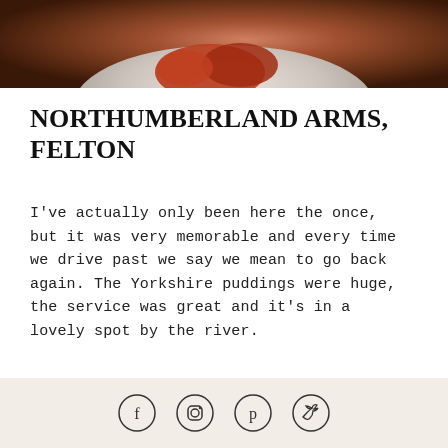[Figure (photo): Partial top view of a plate with food — appears to show meat or a roast dish on a speckled ceramic plate, dark reddish-brown tones, cropped at top of page.]
NORTHUMBERLAND ARMS, FELTON
I've actually only been here the once, but it was very memorable and every time we drive past we say we mean to go back again. The Yorkshire puddings were huge, the service was great and it's in a lovely spot by the river.
[Figure (infographic): Footer area with four social media icons in circles: Facebook, Instagram, Pinterest, Twitter.]